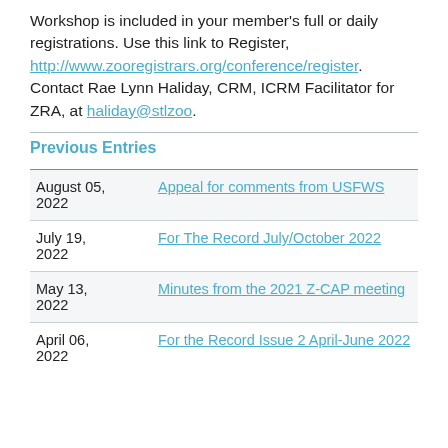Workshop is included in your member's full or daily registrations. Use this link to Register, http://www.zooregistrars.org/conference/register. Contact Rae Lynn Haliday, CRM, ICRM Facilitator for ZRA, at haliday@stlzoo.
Previous Entries
| Date | Title |
| --- | --- |
| August 05, 2022 | Appeal for comments from USFWS |
| July 19, 2022 | For The Record July/October 2022 |
| May 13, 2022 | Minutes from the 2021 Z-CAP meeting |
| April 06, 2022 | For the Record Issue 2 April-June 2022 |